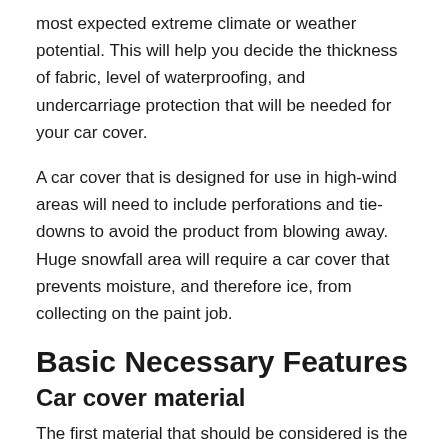most expected extreme climate or weather potential. This will help you decide the thickness of fabric, level of waterproofing, and undercarriage protection that will be needed for your car cover.
A car cover that is designed for use in high-wind areas will need to include perforations and tie-downs to avoid the product from blowing away. Huge snowfall area will require a car cover that prevents moisture, and therefore ice, from collecting on the paint job.
Basic Necessary Features
Car cover material
The first material that should be considered is the kind of fabric that the car cover is made of. This has